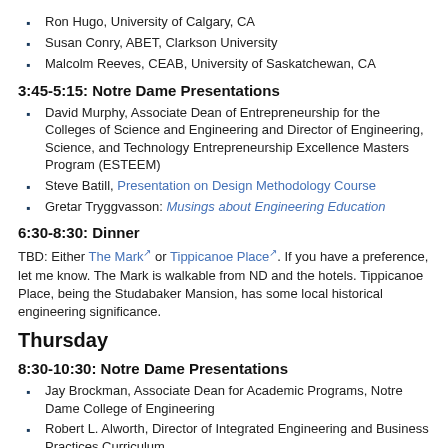Ron Hugo, University of Calgary, CA
Susan Conry, ABET, Clarkson University
Malcolm Reeves, CEAB, University of Saskatchewan, CA
3:45-5:15: Notre Dame Presentations
David Murphy, Associate Dean of Entrepreneurship for the Colleges of Science and Engineering and Director of Engineering, Science, and Technology Entrepreneurship Excellence Masters Program (ESTEEM)
Steve Batill, Presentation on Design Methodology Course
Gretar Tryggvasson: Musings about Engineering Education
6:30-8:30: Dinner
TBD: Either The Mark or Tippicanoe Place. If you have a preference, let me know. The Mark is walkable from ND and the hotels. Tippicanoe Place, being the Studabaker Mansion, has some local historical engineering significance.
Thursday
8:30-10:30: Notre Dame Presentations
Jay Brockman, Associate Dean for Academic Programs, Notre Dame College of Engineering
Robert L. Alworth, Director of Integrated Engineering and Business Practices Curriculum